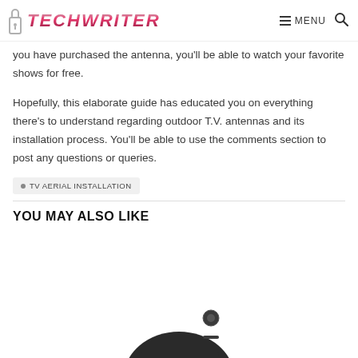TECHWRITER — MENU 🔍
you have purchased the antenna, you'll be able to watch your favorite shows for free.
Hopefully, this elaborate guide has educated you on everything there's to understand regarding outdoor T.V. antennas and its installation process. You'll be able to use the comments section to post any questions or queries.
TV AERIAL INSTALLATION
YOU MAY ALSO LIKE
[Figure (photo): Partial photo of a black TV remote or device, bottom portion visible]